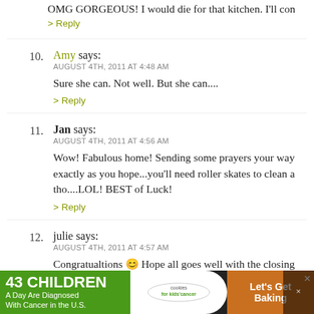OMG GORGEOUS! I would die for that kitchen. I'll con
> Reply
10. Amy says: AUGUST 4TH, 2011 AT 4:48 AM — Sure she can. Not well. But she can....
> Reply
11. Jan says: AUGUST 4TH, 2011 AT 4:56 AM — Wow! Fabulous home! Sending some prayers your way exactly as you hope...you'll need roller skates to clean a tho....LOL! BEST of Luck!
> Reply
12. julie says: AUGUST 4TH, 2011 AT 4:57 AM — Congratualtions 🙂 Hope all goes well with the closing
[Figure (other): Advertisement banner: '43 CHILDREN A Day Are Diagnosed With Cancer in the U.S.' with cookies for kids' cancer logo and 'Let's Get Baking' text on orange background]